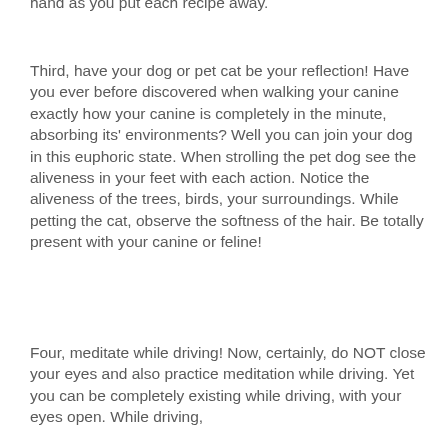hand as you put each recipe away.
Third, have your dog or pet cat be your reflection! Have you ever before discovered when walking your canine exactly how your canine is completely in the minute, absorbing its' environments? Well you can join your dog in this euphoric state. When strolling the pet dog see the aliveness in your feet with each action. Notice the aliveness of the trees, birds, your surroundings. While petting the cat, observe the softness of the hair. Be totally present with your canine or feline!
Four, meditate while driving! Now, certainly, do NOT close your eyes and also practice meditation while driving. Yet you can be completely existing while driving, with your eyes open. While driving,